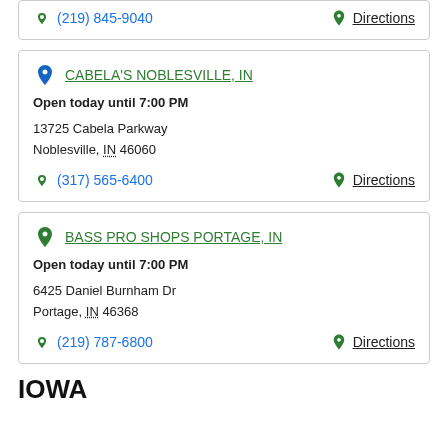(219) 845-9040   Directions
CABELA'S NOBLESVILLE, IN
Open today until 7:00 PM
13725 Cabela Parkway
Noblesville, IN 46060
(317) 565-6400   Directions
BASS PRO SHOPS PORTAGE, IN
Open today until 7:00 PM
6425 Daniel Burnham Dr
Portage, IN 46368
(219) 787-6800   Directions
IOWA